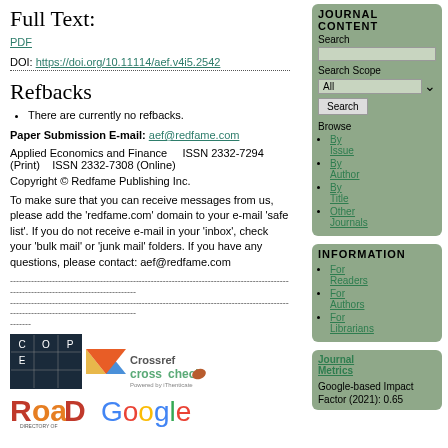Full Text:
PDF
DOI: https://doi.org/10.11114/aef.v4i5.2542
Refbacks
There are currently no refbacks.
Paper Submission E-mail: aef@redfame.com
Applied Economics and Finance    ISSN 2332-7294 (Print)   ISSN 2332-7308 (Online)
Copyright © Redfame Publishing Inc.
To make sure that you can receive messages from us, please add the 'redfame.com' domain to your e-mail 'safe list'. If you do not receive e-mail in your 'inbox', check your 'bulk mail' or 'junk mail' folders. If you have any questions, please contact: aef@redfame.com
[Figure (logo): COPE logo, Crossref CrossCheck logo, ROAD logo, Google logo]
JOURNAL CONTENT
Search
Search Scope All
Browse
By Issue
By Author
By Title
Other Journals
INFORMATION
For Readers
For Authors
For Librarians
Journal Metrics
Google-based Impact Factor (2021): 0.65